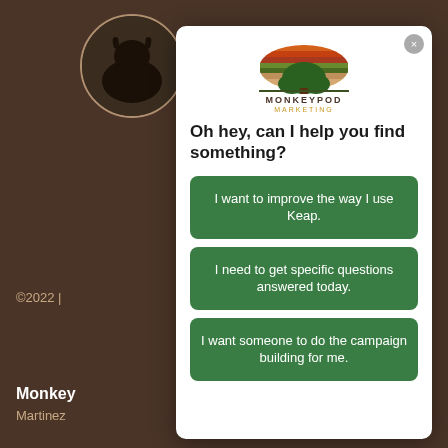[Figure (screenshot): Dark brown website background with circular avatar placeholder top-left, copyright text, and partial text including Monkey, Martinez, Blog, Small Business labels on the left side]
[Figure (logo): Monkeypod Marketing logo: semicircle with horizontal stripes in orange, red, green colors with a green tree silhouette, text MONKEYPOD MARKETING below]
Oh hey, can I help you find something?
I want to improve the way I use Keap.
I need to get specific questions answered today.
I want someone to do the campaign building for me.